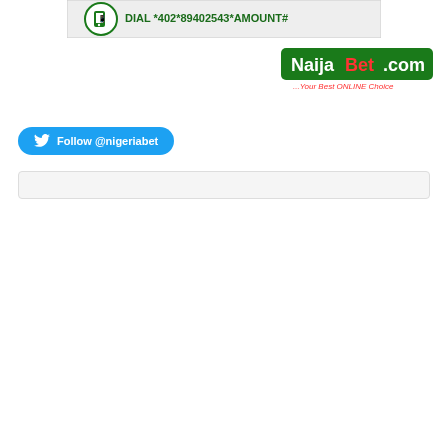[Figure (infographic): Banner with phone icon and text: DIAL *402*89402543*AMOUNT#]
[Figure (logo): NaijaBet.com logo with tagline: ...Your Best ONLINE Choice]
Follow @nigeriabet
Search bar (empty input field)